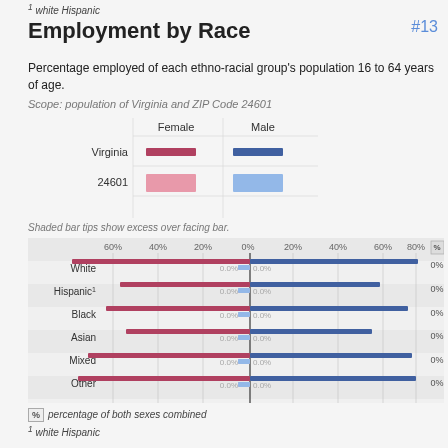1 white Hispanic
Employment by Race #13
Percentage employed of each ethno-racial group's population 16 to 64 years of age.
Scope: population of Virginia and ZIP Code 24601
[Figure (grouped-bar-chart): Employment by Race]
Shaded bar tips show excess over facing bar.
% percentage of both sexes combined
1 white Hispanic